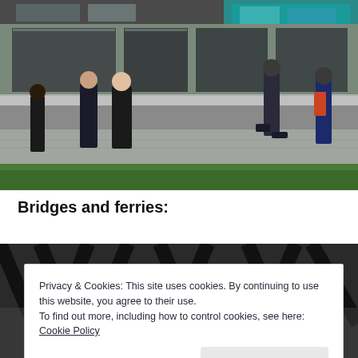[Figure (photo): Street scene with people walking on a wide sidewalk in front of a building with large windows and a teal/green mural. Green grass area in foreground. People are posed for a photo on the left, a man walks in the center, and others walk on the right.]
Bridges and ferries:
[Figure (photo): Partial view of a second photo beneath, showing what appears to be bridge or ferry infrastructure with black metal elements.]
Privacy & Cookies: This site uses cookies. By continuing to use this website, you agree to their use.
To find out more, including how to control cookies, see here: Cookie Policy
Close and accept